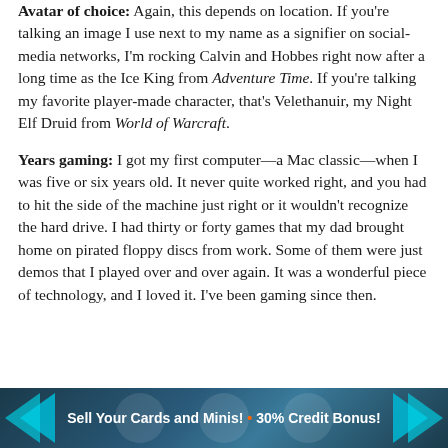Avatar of choice: Again, this depends on location. If you're talking an image I use next to my name as a signifier on social-media networks, I'm rocking Calvin and Hobbes right now after a long time as the Ice King from Adventure Time. If you're talking my favorite player-made character, that's Velethanuir, my Night Elf Druid from World of Warcraft.
Years gaming: I got my first computer—a Mac classic—when I was five or six years old. It never quite worked right, and you had to hit the side of the machine just right or it wouldn't recognize the hard drive. I had thirty or forty games that my dad brought home on pirated floppy discs from work. Some of them were just demos that I played over and over again. It was a wonderful piece of technology, and I loved it. I've been gaming since then.
[Figure (infographic): Advertisement banner: 'Sell Your Cards and Minis! • 30% Credit Bonus!' with teal/dark blue angular graphic design and chevron arrows on sides.]